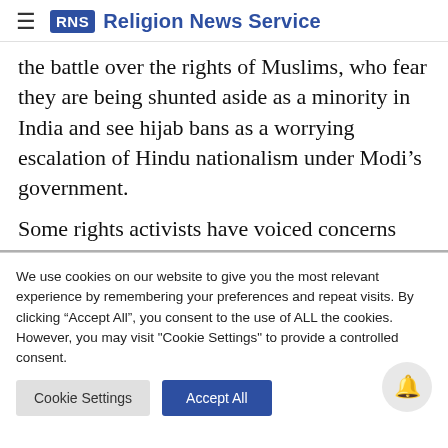RNS Religion News Service
the battle over the rights of Muslims, who fear they are being shunted aside as a minority in India and see hijab bans as a worrying escalation of Hindu nationalism under Modi’s government.
Some rights activists have voiced concerns
We use cookies on our website to give you the most relevant experience by remembering your preferences and repeat visits. By clicking “Accept All”, you consent to the use of ALL the cookies. However, you may visit "Cookie Settings" to provide a controlled consent.